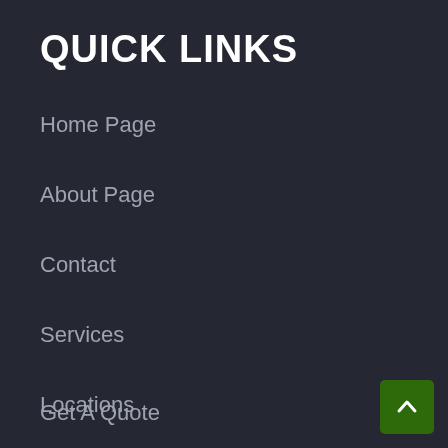QUICK LINKS
Home Page
About Page
Contact
Services
Locations
Get A Quote
[Figure (other): Back to top button with upward arrow chevron on dark green background]